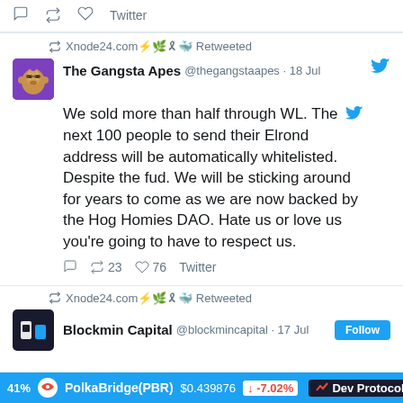[Figure (screenshot): Twitter/social media feed screenshot showing tweets from The Gangsta Apes and Blockmin Capital accounts, with a cryptocurrency ticker bar at the bottom showing PolkaBridge(PBR) and Dev Protocol.]
Xnode24.com ⚡🌿🎗🐳 Retweeted
The Gangsta Apes @thegangstaapes · 18 Jul
We sold more than half through WL. The next 100 people to send their Elrond address will be automatically whitelisted. Despite the fud. We will be sticking around for years to come as we are now backed by the Hog Homies DAO. Hate us or love us you're going to have to respect us.
23 retweets 76 likes Twitter
Xnode24.com ⚡🌿🎗🐳 Retweeted
Blockmin Capital @blockmincapital · 17 Jul
PolkaBridge(PBR) $0.439876 ↓ -7.02% Dev Protocol